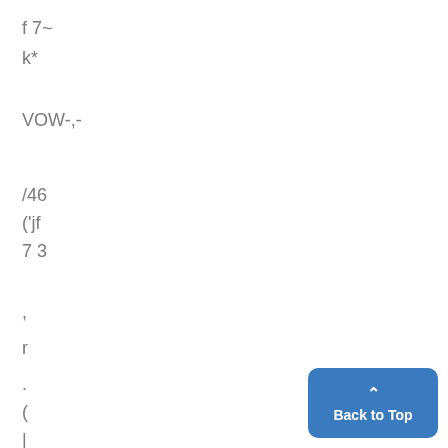f 7~
k*
VOW-,-
/46
('jf
7 3
,
r
.
(
|
[Figure (other): Blue 'Back to Top' button with upward chevron arrow in bottom right corner]